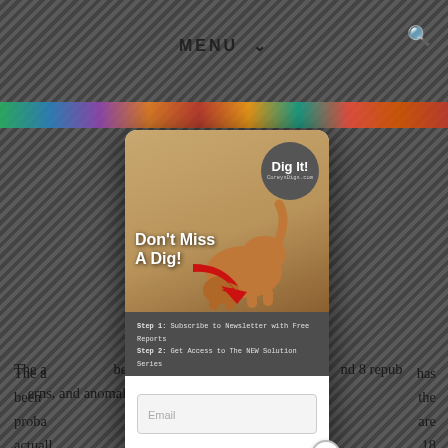MENU ∨
[Figure (screenshot): A popup modal on a website with diagonal stripe background. Modal shows a dog digging in sand with a 'Dig It! CoreysDigs.com' badge, text 'Don't Miss A Dig!', a red arrow, steps bar reading 'Step 1: Subscribe to Newsletter with Free Reports' and 'Step 2: Get Access to The NEW Solution Series', and an email input field. A close (x) button is in the bottom-right corner of the modal.]
The analysis of 67 republicans, 67 democrats has been carefully reviewed to identify the key the probability patterns and anomalies that are actually 18 of 67 and 8 republicans patterns, and anomalies.